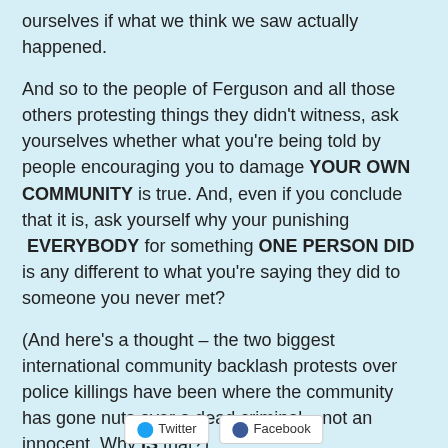ourselves if what we think we saw actually happened.
And so to the people of Ferguson and all those others protesting things they didn't witness, ask yourselves whether what you're being told by people encouraging you to damage YOUR OWN COMMUNITY is true. And, even if you conclude that it is, ask yourself why your punishing EVERYBODY for something ONE PERSON DID is any different to what you're saying they did to someone you never met?
(And here's a thought – the two biggest international community backlash protests over police killings have been where the community has gone nuts over a dead criminal – not an innocent. Why IS that?)